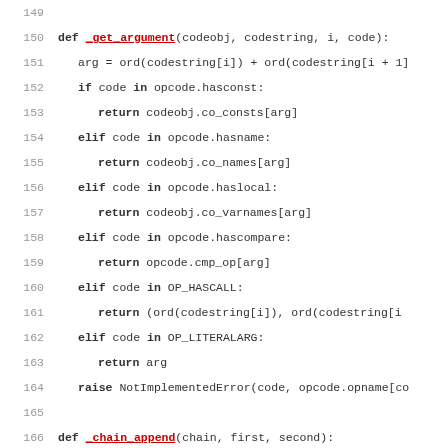[Figure (screenshot): Python source code snippet showing two function definitions: _get_argument (lines 150-165) and _chain_append (lines 166-171), displayed as a code editor view with line numbers and syntax highlighting.]